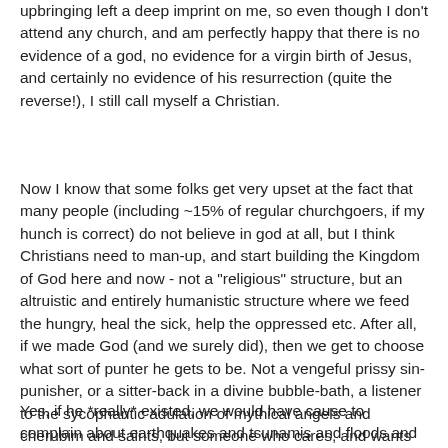upbringing left a deep imprint on me, so even though I don't attend any church, and am perfectly happy that there is no evidence of a god, no evidence for a virgin birth of Jesus, and certainly no evidence of his resurrection (quite the reverse!), I still call myself a Christian.
Now I know that some folks get very upset at the fact that many people (including ~15% of regular churchgoers, if my hunch is correct) do not believe in god at all, but I think Christians need to man-up, and start building the Kingdom of God here and now - not a "religious" structure, but an altruistic and entirely humanistic structure where we feed the hungry, heal the sick, help the oppressed etc. After all, if we made God (and we surely did), then we get to choose what sort of punter he gets to be. Not a vengeful prissy sin-punisher, or a sitter-back in a divine bubble-bath, a listener to the sycophantic adulation of mythical angels and cherubim and saints, but someone who cares, and wants us to care too.
Yes, if he *really* existed, we would have cause to complain about earthquakes and tsunamis and floods and asteroid